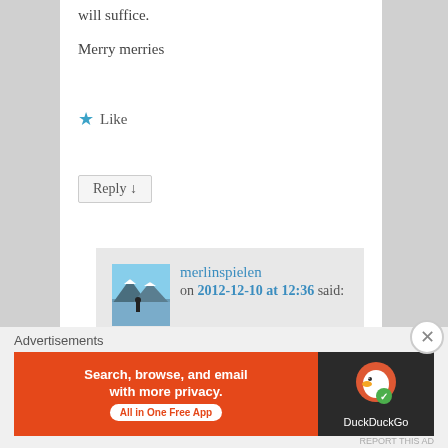will suffice.
Merry merries
★ Like
Reply ↓
merlinspielen on 2012-12-10 at 12:36 said:
Oh thank you cricketmuse! That is very kind of you. I forget that wordpress is a social network of sorts and our words can get shared
Advertisements
[Figure (screenshot): DuckDuckGo advertisement banner: orange section with text 'Search, browse, and email with more privacy. All in One Free App' and dark section with DuckDuckGo logo]